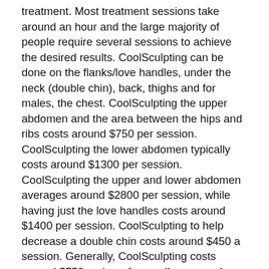treatment. Most treatment sessions take around an hour and the large majority of people require several sessions to achieve the desired results. CoolSculpting can be done on the flanks/love handles, under the neck (double chin), back, thighs and for males, the chest. CoolSculpting the upper abdomen and the area between the hips and ribs costs around $750 per session. CoolSculpting the lower abdomen typically costs around $1300 per session. CoolSculpting the upper and lower abdomen averages around $2800 per session, while having just the love handles costs around $1400 per session. CoolSculpting to help decrease a double chin costs around $450 a session. Generally, CoolSculpting costs around $750 an hour for small areas and about $1250 an hour for large areas. Most Doctors will give a discount for multiple sessions. CoolSculpting is a cosmetic procedure and is therefore not covered by health insurance. CoolSculpting is FDA approved.